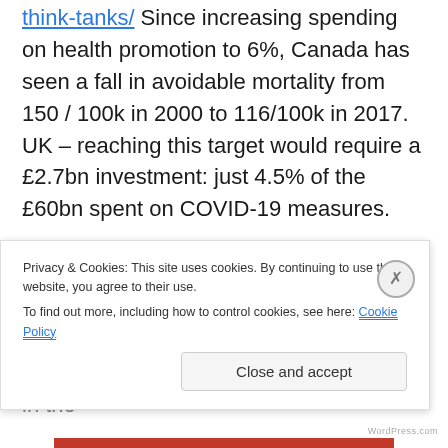think-tanks/ Since increasing spending on health promotion to 6%, Canada has seen a fall in avoidable mortality from 150 / 100k in 2000 to 116/100k in 2017. UK – reaching this target would require a £2.7bn investment: just 4.5% of the £60bn spent on COVID-19 measures.
Then for more tightly defined interventions …. Take your pick of gold class evidence base.
often (mostly) evidence is framed ONLY in the
Privacy & Cookies: This site uses cookies. By continuing to use this website, you agree to their use.
To find out more, including how to control cookies, see here: Cookie Policy
Close and accept